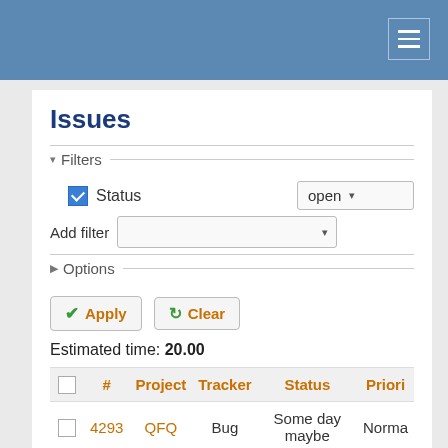Issues
Filters (collapsed section with Status: open filter and Add filter dropdown, Options section)
Apply   Clear
Estimated time: 20.00
|  | # | Project | Tracker | Status | Priori |
| --- | --- | --- | --- | --- | --- |
|  | 4293 | QFQ | Bug | Some day maybe | Norma |
|  | 2063 | QFQ | Bug | Some day maybe | Norma |
|  | 3130 | QFQ | Bug | Some day maybe | Norma |